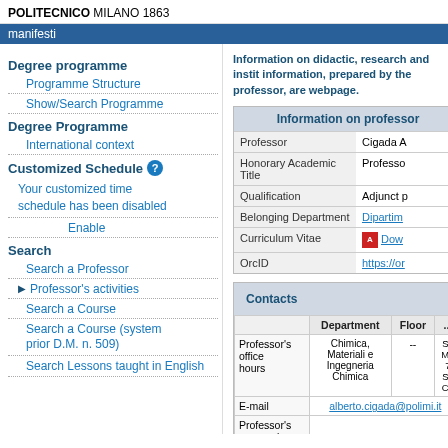POLITECNICO MILANO 1863
manifesti
Degree programme
Programme Structure
Show/Search Programme
Degree Programme
International context
Customized Schedule
Your customized time schedule has been disabled
Enable
Search
Search a Professor
Professor's activities
Search a Course
Search a Course (system prior D.M. n. 509)
Search Lessons taught in English
Information on didactic, research and instit information, prepared by the professor, are webpage.
| Information on professor |  |
| --- | --- |
| Professor | Cigada A |
| Honorary Academic Title | Professo |
| Qualification | Adjunct p |
| Belonging Department | Dipartim |
| Curriculum Vitae | Dow |
| OrcID | https://or |
| Contacts |  |  |  |
| --- | --- | --- | --- |
|  | Department | Floor |  |
| Professor's office hours | Chimica, Materiali e Ingegneria Chimica | -- | Se Ma 7 Se Ca |
| E-mail | alberto.cigada@polimi.it |  |  |
| Professor's personal |  |  |  |